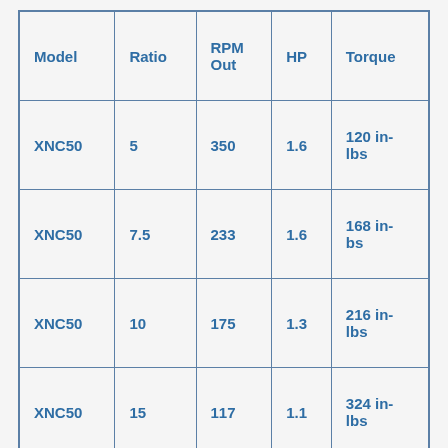| Model | Ratio | RPM Out | HP | Torque |
| --- | --- | --- | --- | --- |
| XNC50 | 5 | 350 | 1.6 | 120 in-lbs |
| XNC50 | 7.5 | 233 | 1.6 | 168 in-bs |
| XNC50 | 10 | 175 | 1.3 | 216 in-lbs |
| XNC50 | 15 | 117 | 1.1 | 324 in-lbs |
| XNC50 | 20 | 88 | 0.9 | 420 in-lbs |
| XNC50 |  |  |  |  |